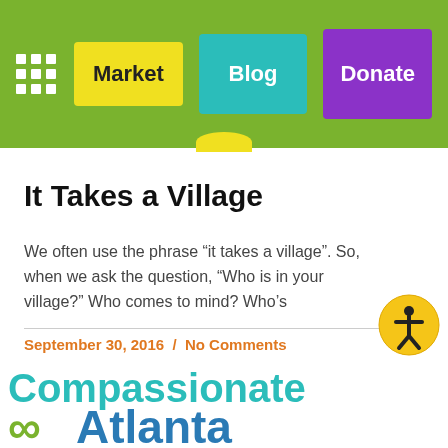Market | Blog | Donate
It Takes a Village
We often use the phrase “it takes a village”. So, when we ask the question, “Who is in your village?” Who comes to mind? Who’s
September 30, 2016  /  No Comments
[Figure (logo): Compassionate Atlanta logo with infinity symbol and teal/blue text]